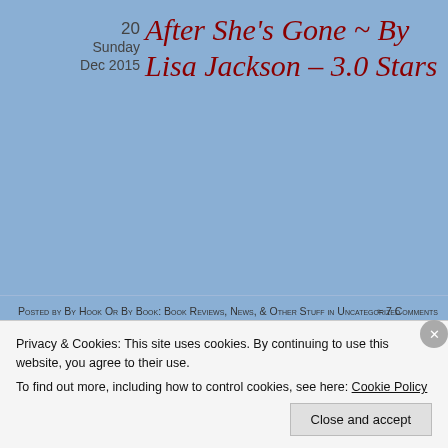20 Sunday Dec 2015
After She's Gone ~ By Lisa Jackson – 3.0 Stars
Posted by By Hook Or By Book: Book Reviews, News, & Other Stuff in Uncategorized ≈ 7 Comments
[Figure (photo): Book cover for Lisa Jackson novel showing '#1 New York Times Bestselling Author' and 'LISA JACKSON' text on dark background]
Tags
Privacy & Cookies: This site uses cookies. By continuing to use this website, you agree to their use. To find out more, including how to control cookies, see here: Cookie Policy
Close and accept